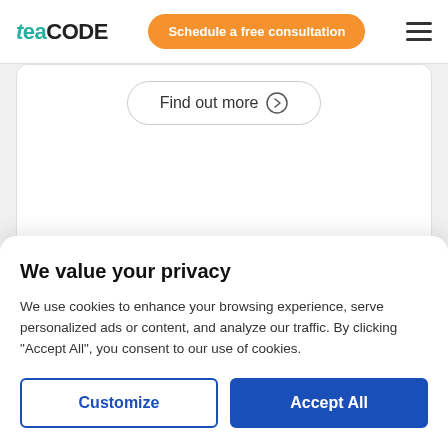teaCODE | Schedule a free consultation
[Figure (screenshot): Partial content card with a 'Find out more' button with right arrow circle]
We value your privacy
We use cookies to enhance your browsing experience, serve personalized ads or content, and analyze our traffic. By clicking "Accept All", you consent to our use of cookies.
Customize | Accept All